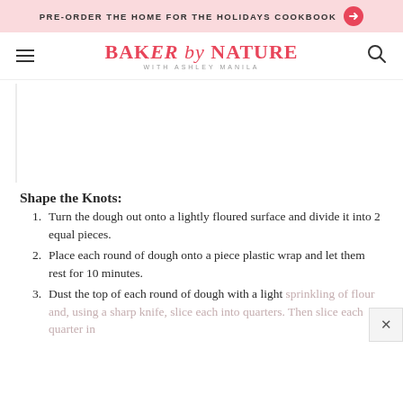PRE-ORDER THE HOME FOR THE HOLIDAYS COOKBOOK →
BAKER by NATURE WITH ASHLEY MANILA
[Figure (other): Blank white content image area placeholder]
Shape the Knots:
Turn the dough out onto a lightly floured surface and divide it into 2 equal pieces.
Place each round of dough onto a piece plastic wrap and let them rest for 10 minutes.
Dust the top of each round of dough with a light sprinkling of flour and, using a sharp knife, slice each into quarters. Then slice each quarter in